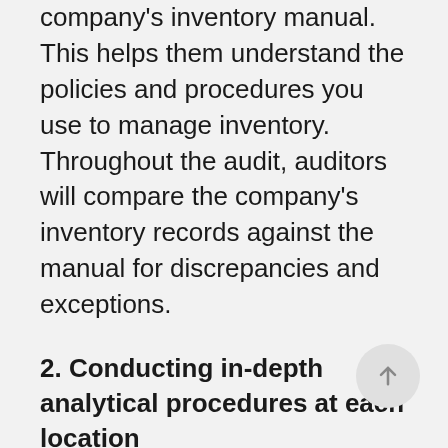company's inventory manual. This helps them understand the policies and procedures you use to manage inventory. Throughout the audit, auditors will compare the company's inventory records against the manual for discrepancies and exceptions.
2. Conducting in-depth analytical procedures at each location
In order to safeguard against bloated inventory balances, your auditors will review the company's accounting records. This helps